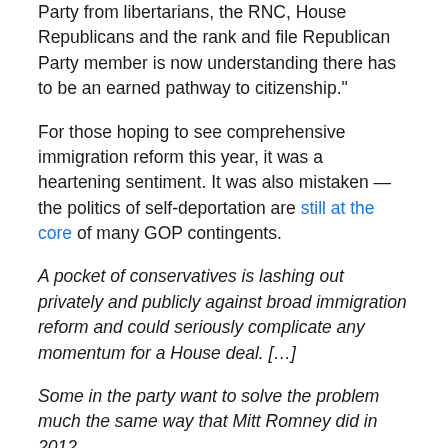Party from libertarians, the RNC, House Republicans and the rank and file Republican Party member is now understanding there has to be an earned pathway to citizenship."
For those hoping to see comprehensive immigration reform this year, it was a heartening sentiment. It was also mistaken — the politics of self-deportation are still at the core of many GOP contingents.
A pocket of conservatives is lashing out privately and publicly against broad immigration reform and could seriously complicate any momentum for a House deal. […]
Some in the party want to solve the problem much the same way that Mitt Romney did in 2012.
[Republican Rep. Dana Rohrabacher of California] said: